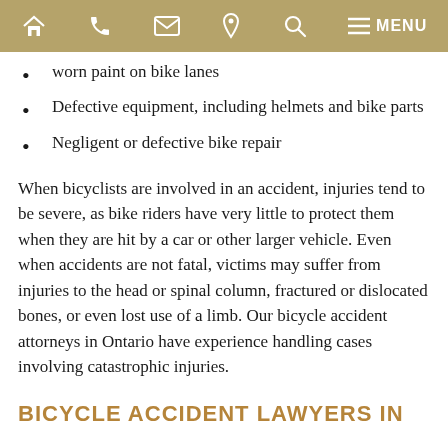Navigation bar with home, phone, email, location, search, and menu icons
worn paint on bike lanes
Defective equipment, including helmets and bike parts
Negligent or defective bike repair
When bicyclists are involved in an accident, injuries tend to be severe, as bike riders have very little to protect them when they are hit by a car or other larger vehicle. Even when accidents are not fatal, victims may suffer from injuries to the head or spinal column, fractured or dislocated bones, or even lost use of a limb. Our bicycle accident attorneys in Ontario have experience handling cases involving catastrophic injuries.
BICYCLE ACCIDENT LAWYERS IN